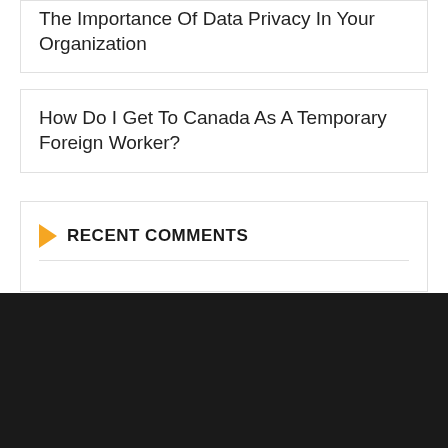The Importance Of Data Privacy In Your Organization
How Do I Get To Canada As A Temporary Foreign Worker?
RECENT COMMENTS
BACK TO TOP